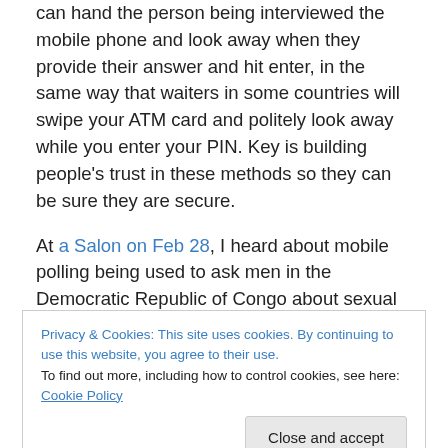sensitive question comes up in a survey, an enumerator can hand the person being interviewed the mobile phone and look away when they provide their answer and hit enter, in the same way that waiters in some countries will swipe your ATM card and politely look away while you enter your PIN. Key is building people's trust in these methods so they can be sure they are secure.
At a Salon on Feb 28, I heard about mobile polling being used to ask men in the Democratic Republic of Congo about sexual assault against men. There was a higher recorded affirmative rate when the question was answered
Privacy & Cookies: This site uses cookies. By continuing to use this website, you agree to their use.
To find out more, including how to control cookies, see here: Cookie Policy
have been victims of rape, no one wants to say publicly.